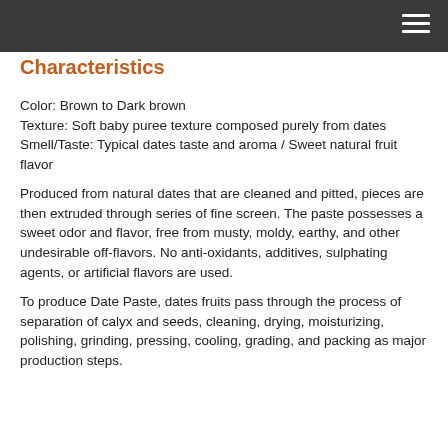☰
Characteristics
Color: Brown to Dark brown
Texture: Soft baby puree texture composed purely from dates
Smell/Taste: Typical dates taste and aroma  / Sweet natural fruit flavor
Produced from natural dates that are cleaned and pitted, pieces are then extruded through series of fine screen.  The paste possesses a sweet odor and flavor, free from musty, moldy, earthy, and other undesirable off-flavors. No anti-oxidants, additives, sulphating agents, or artificial flavors are used.
To produce  Date Paste, dates fruits pass through the process of separation of calyx and seeds, cleaning, drying, moisturizing, polishing, grinding, pressing, cooling, grading, and packing as major production steps.